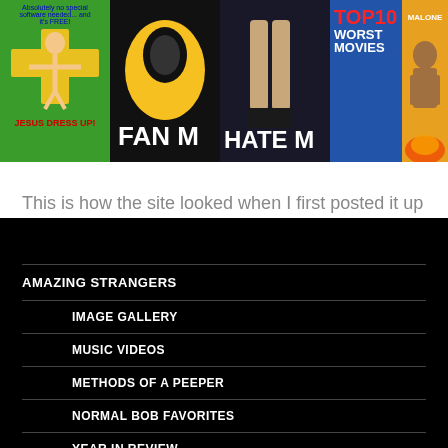[Figure (screenshot): Website screenshot showing image banner with Jesus Dress Up, Fan Mail, Hate Mail, and Top 10 Worst Movies sections]
This is how the site looked when I first posted it up online in November of 2000!
AMAZING STRANGERS
IMAGE GALLERY
MUSIC VIDEOS
METHODS OF A PEEPER
NORMAL BOB FAVORITES
YEAR IN REVIEW